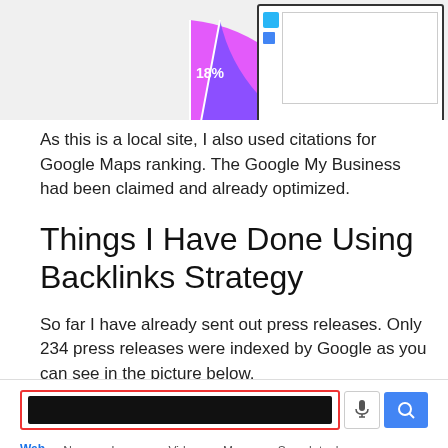[Figure (other): Partial pie chart showing 18% slice in magenta/purple, with a cropped screenshot element (device/table image) in the top right corner on a light grey background.]
As this is a local site, I also used citations for Google Maps ranking. The Google My Business had been claimed and already optimized.
Things I Have Done Using Backlinks Strategy
So far I have already sent out press releases. Only 234 press releases were indexed by Google as you can see in the picture below.
[Figure (screenshot): Google search bar screenshot with a redacted/blacked-out search query, microphone icon, and blue search button. Below shows Google search tabs: Web, News, Images, Videos, More, Search tools.]